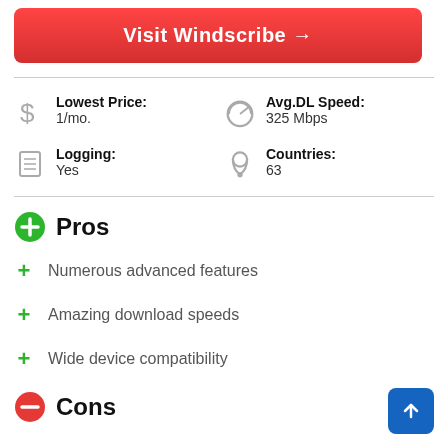Visit Windscribe →
Lowest Price:
1/mo.
Avg.DL Speed:
325 Mbps
Logging:
Yes
Countries:
63
Pros
Numerous advanced features
Amazing download speeds
Wide device compatibility
Cons